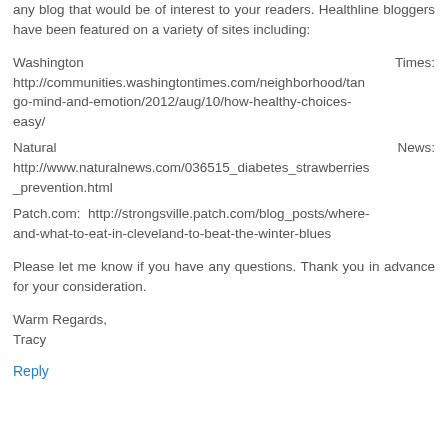any blog that would be of interest to your readers. Healthline bloggers have been featured on a variety of sites including:
Washington Times: http://communities.washingtontimes.com/neighborhood/tango-mind-and-emotion/2012/aug/10/how-healthy-choices-easy/
Natural News: http://www.naturalnews.com/036515_diabetes_strawberries_prevention.html
Patch.com: http://strongsville.patch.com/blog_posts/where-and-what-to-eat-in-cleveland-to-beat-the-winter-blues
Please let me know if you have any questions. Thank you in advance for your consideration.
Warm Regards,
Tracy
Reply